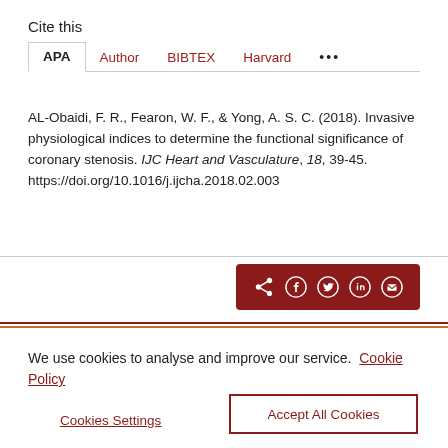Cite this
APA | Author | BIBTEX | Harvard | ...
AL-Obaidi, F. R., Fearon, W. F., & Yong, A. S. C. (2018). Invasive physiological indices to determine the functional significance of coronary stenosis. IJC Heart and Vasculature, 18, 39-45. https://doi.org/10.1016/j.ijcha.2018.02.003
We use cookies to analyse and improve our service. Cookie Policy
Cookies Settings
Accept All Cookies